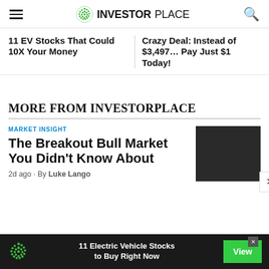INVESTORPLACE
11 EV Stocks That Could 10X Your Money
Crazy Deal: Instead of $3,497… Pay Just $1 Today!
MORE FROM INVESTORPLACE
MARKET INSIGHT
The Breakout Bull Market You Didn't Know About
2d ago · By Luke Lango
[Figure (photo): Dark thumbnail image for article]
11 Electric Vehicle Stocks to Buy Right Now